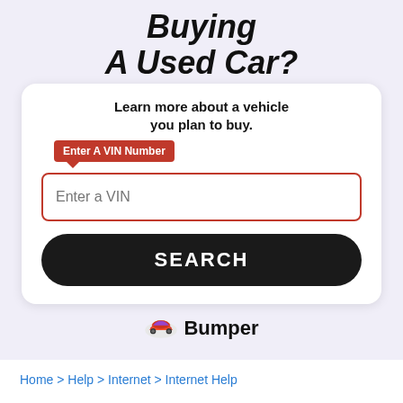Buying A Used Car?
Learn more about a vehicle you plan to buy.
Enter A VIN Number
Enter a VIN
SEARCH
[Figure (logo): Bumper car lookup service logo with orange/red/purple car icon and bold 'Bumper' text]
Home > Help > Internet > Internet Help
How to help prevent